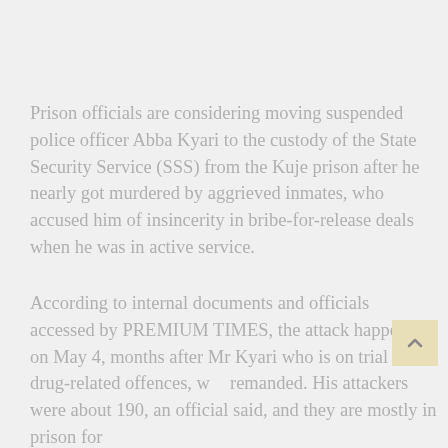Prison officials are considering moving suspended police officer Abba Kyari to the custody of the State Security Service (SSS) from the Kuje prison after he nearly got murdered by aggrieved inmates, who accused him of insincerity in bribe-for-release deals when he was in active service.
According to internal documents and officials accessed by PREMIUM TIMES, the attack happened on May 4, months after Mr Kyari who is on trial for drug-related offences, was remanded. His attackers were about 190, an official said, and they are mostly in prison for